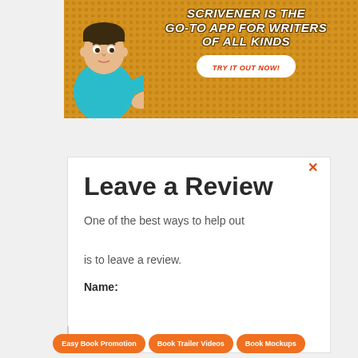[Figure (illustration): Scrivener app advertisement banner with comic-style illustration of a man in teal shirt, orange/gold halftone dot background, bold italic white text: 'SCRIVENER IS THE GO-TO APP FOR WRITERS OF ALL KINDS', and a white oval button with red text 'TRY IT OUT NOW!']
Leave a Review
One of the best ways to help out is to leave a review.
Name:
eg. John
Easy Book Promotion   Book Trailer Videos   Book Mockups